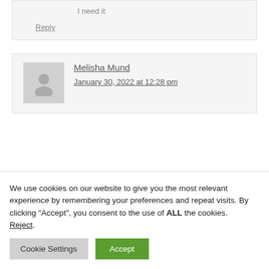I need it
Reply
Melisha Mund
January 30, 2022 at 12:28 pm
We use cookies on our website to give you the most relevant experience by remembering your preferences and repeat visits. By clicking “Accept”, you consent to the use of ALL the cookies. Reject.